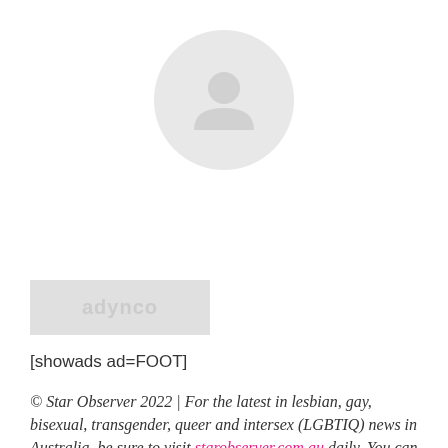[Figure (illustration): Circular avatar placeholder icon — a grey circle with a generic person silhouette icon in the center]
[Figure (other): Grey rectangular advertisement placeholder box with faint text 'adynco']
[showads ad=FOOT]
© Star Observer 2022 | For the latest in lesbian, gay, bisexual, transgender, queer and intersex (LGBTIQ) news in Australia, be sure to visit starobserver.com.au daily. You can